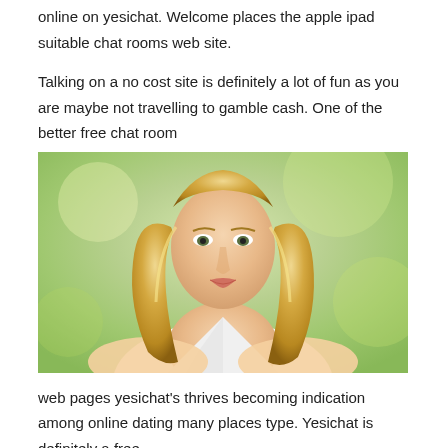online on yesichat. Welcome places the apple ipad suitable chat rooms web site.
Talking on a no cost site is definitely a lot of fun as you are maybe not travelling to gamble cash. One of the better free chat room
[Figure (photo): Portrait photo of a blonde woman in a white low-cut top, with long curly blonde hair, against a blurred green outdoor background.]
web pages yesichat's thrives becoming indication among online dating many places type. Yesichat is definitely a free